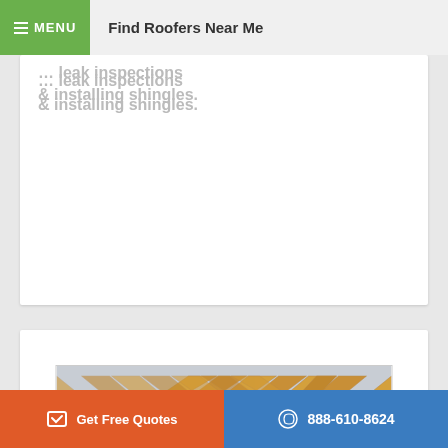≡ MENU    Find Roofers Near Me
… leak inspections & installing shingles.
[Figure (photo): Two roofers working on a wooden roof frame structure, bending over diagonal wooden slats/trusses against a grey sky background]
Get Free Quotes    888-610-8624